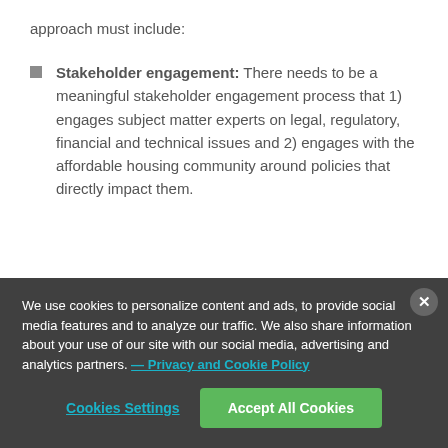approach must include:
Stakeholder engagement: There needs to be a meaningful stakeholder engagement process that 1) engages subject matter experts on legal, regulatory, financial and technical issues and 2) engages with the affordable housing community around policies that directly impact them.
We use cookies to personalize content and ads, to provide social media features and to analyze our traffic. We also share information about your use of our site with our social media, advertising and analytics partners. — Privacy and Cookie Policy
Cookies Settings
Accept All Cookies